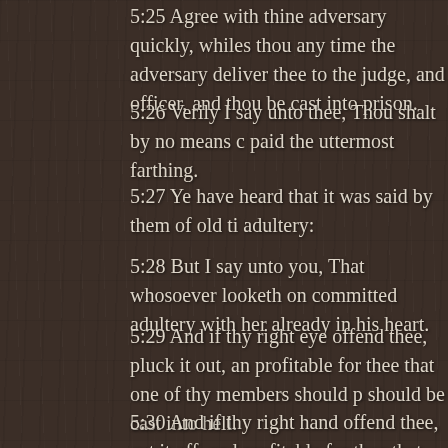5:25 Agree with thine adversary quickly, whiles thou any time the adversary deliver thee to the judge, and officer, and thou be cast into prison.
5:26 Verily I say unto thee, Thou shalt by no means paid the uttermost farthing.
5:27 Ye have heard that it was said by them of old ti adultery:
5:28 But I say unto you, That whosoever looketh on committed adultery with her already in his heart.
5:29 And if thy right eye offend thee, pluck it out, a profitable for thee that one of thy members should p should be cast into hell.
5:30 And if thy right hand offend thee, cut it off, an profitable for thee that one of thy members should p should be cast into hell.